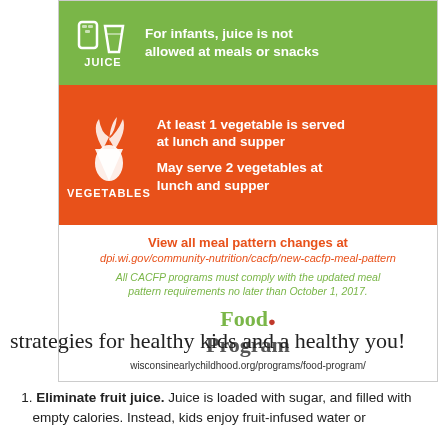[Figure (infographic): CACFP food program infographic showing: JUICE section (green) - For infants, juice is not allowed at meals or snacks; VEGETABLES section (orange) - At least 1 vegetable is served at lunch and supper, May serve 2 vegetables at lunch and supper; link to view all meal pattern changes at dpi.wi.gov/community-nutrition/cacfp/new-cacfp-meal-pattern; CACFP compliance note; Food Program logo and website.]
strategies for healthy kids and a healthy you!
Eliminate fruit juice. Juice is loaded with sugar, and filled with empty calories. Instead, kids enjoy fruit-infused water or